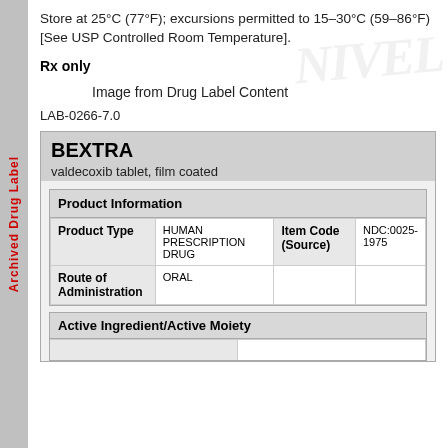Archived Drug Label
Store at 25°C (77°F); excursions permitted to 15–30°C (59–86°F) [See USP Controlled Room Temperature].
Rx only
[Figure (illustration): Broken image placeholder with caption: Image from Drug Label Content]
Image from Drug Label Content
LAB-0266-7.0
| BEXTRA | valdecoxib tablet, film coated |
| Product Information |
| --- |
| Product Type | HUMAN PRESCRIPTION DRUG | Item Code (Source) | NDC:0025-1975 |
| Route of Administration | ORAL |  |  |
Active Ingredient/Active Moiety